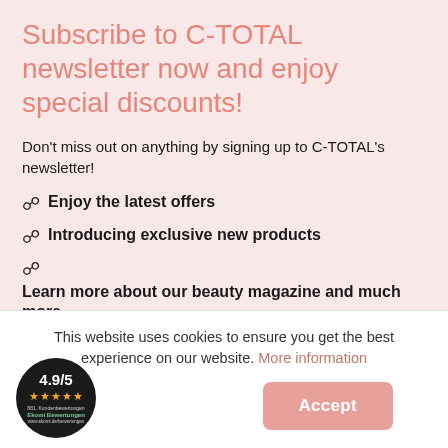Subscribe to C-TOTAL newsletter now and enjoy special discounts!
Don't miss out on anything by signing up to C-TOTAL's newsletter!
Enjoy the latest offers
Introducing exclusive new products
Learn more about our beauty magazine and much more
This website uses cookies to ensure you get the best experience on our website. More information
[Figure (other): Round black badge showing rating 4.9/5 with 5 gold stars and Trustpilot-style branding]
Accept